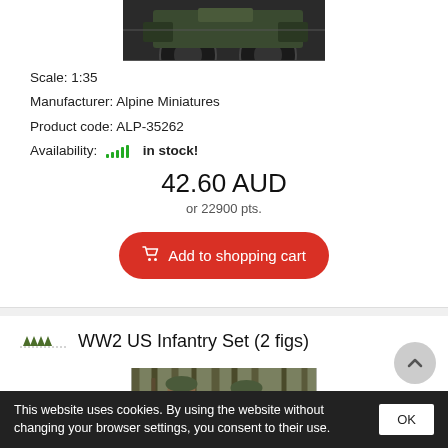[Figure (photo): Partial view of a military jeep from below/front at top of card]
Scale: 1:35
Manufacturer: Alpine Miniatures
Product code: ALP-35262
Availability: [signal bars icon] in stock!
42.60 AUD
or 22900 pts.
Add to shopping cart
WW2 US Infantry Set (2 figs)
[Figure (photo): Two WW2 US infantry soldier figures in a forest setting]
This website uses cookies. By using the website without changing your browser settings, you consent to their use.